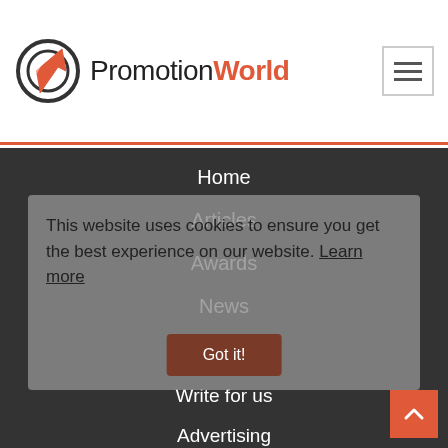PromotionWorld
Home
Articles
Awards
News
Other
Write for us
Advertising
Contacts
64 Orland Square Drive
Suite 314A
Orland Park, IL 60462
Phone: (708) 428-6114
This website uses cookies to ensure you get the best experience on our website. Learn more
Got it!